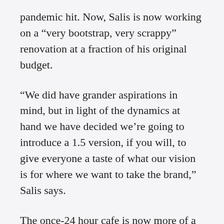pandemic hit. Now, Salis is now working on a “very bootstrap, very scrappy” renovation at a fraction of his original budget.
“We did have grander aspirations in mind, but in light of the dynamics at hand we have decided we’re going to introduce a 1.5 version, if you will, to give everyone a taste of what our vision is for where we want to take the brand,” Salis says.
The once-24 hour cafe is now more of a restaurant and bar with a new breakfast